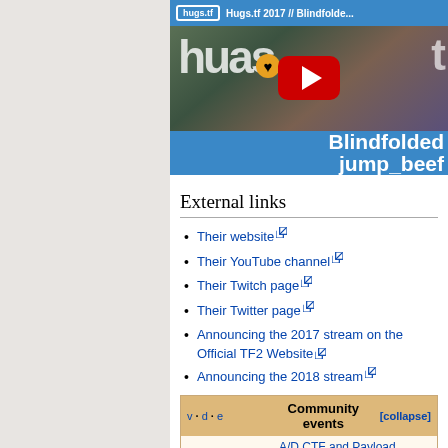[Figure (screenshot): YouTube video thumbnail showing Hugs.tf 2017 Blindfolded jump_beef video with blue background and YouTube play button]
External links
Their website
Their YouTube channel
Their Twitch page
Their Twitter page
Announcing the 2017 stream on the Official TF2 Website
Announcing the 2018 stream
| v · d · e | Community events | [collapse] |
| --- | --- | --- |
|  | A/D CTF and Payload |  |